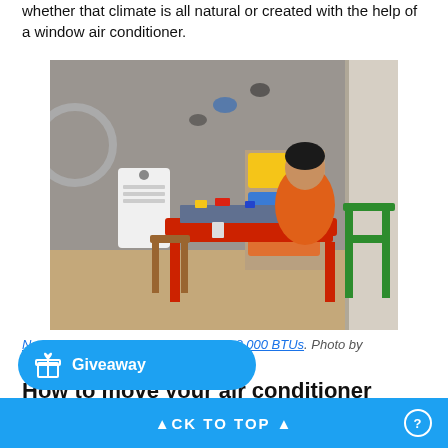whether that climate is all natural or created with the help of a window air conditioner.
[Figure (photo): A child in an orange shirt sitting at a small red table playing with Lego blocks in a room. A white portable air conditioner is visible to the left. Colorful storage bins are in the background. Green and wooden chairs surround the table.]
NewAir Portable Air Conditioner with 8,000 BTUs. Photo by @caait.ruzsa
How to move your air conditioner